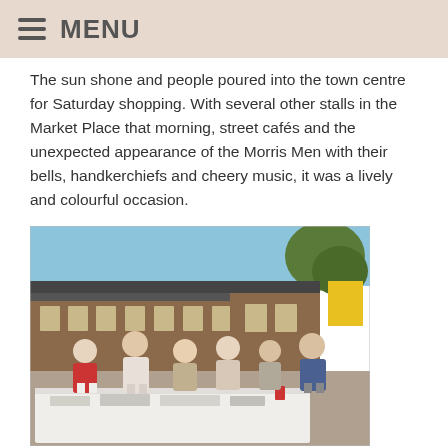MENU
The sun shone and people poured into the town centre for Saturday shopping. With several other stalls in the Market Place that morning, street cafés and the unexpected appearance of the Morris Men with their bells, handkerchiefs and cheery music, it was a lively and colourful occasion.
[Figure (photo): Group photo of several people standing behind a table with a white tablecloth, outdoors in a market place with brick buildings visible in the background.]
Some of the team: Vicki, David, Pauline Humphries (sales).